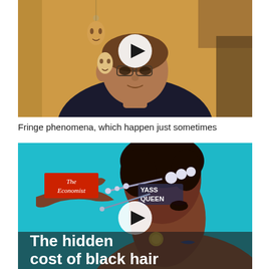[Figure (screenshot): Video thumbnail showing a man with shaved head and glasses in a room with orange/tan walls and decorative masks hanging on the wall. White circular play button overlay in the center.]
Fringe phenomena, which happen just sometimes
[Figure (screenshot): The Economist video thumbnail with teal/cyan background showing a Black woman in profile with decorative hair accessories including crystal pins and letter clips spelling 'YASS QUEEN'. Red Economist logo in top left corner. White circular play button in the center. Text at bottom reads 'The hidden cost of black hair' in large white bold font.]